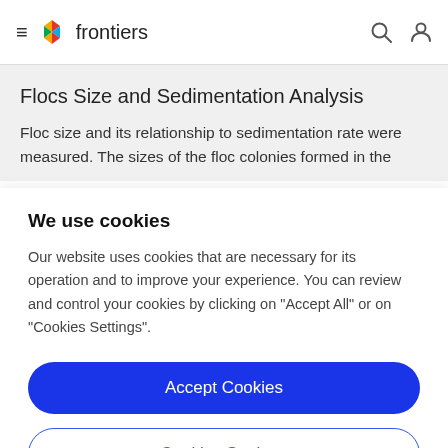frontiers
Flocs Size and Sedimentation Analysis
Floc size and its relationship to sedimentation rate were measured. The sizes of the floc colonies formed in the
We use cookies
Our website uses cookies that are necessary for its operation and to improve your experience. You can review and control your cookies by clicking on "Accept All" or on "Cookies Settings".
Accept Cookies
Cookies Settings